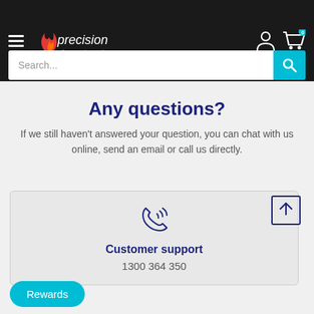[Figure (logo): Precision engine needs logo with flame/spark icon on black header background]
Any questions?
If we still haven't answered your question, you can chat with us online, send an email or call us directly.
Customer support
1300 364 350